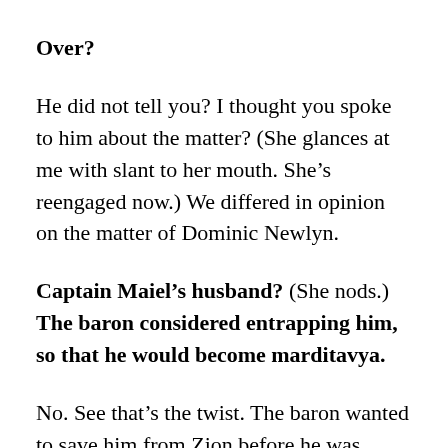Over?
He did not tell you? I thought you spoke to him about the matter? (She glances at me with slant to her mouth. She's reengaged now.) We differed in opinion on the matter of Dominic Newlyn.
Captain Maiel’s husband? (She nods.) The baron considered entrapping him, so that he would become marditavya.
No. See that’s the twist. The baron wanted to save him from Zion before he was killed. He knew his wife, once upon a time. He nearly